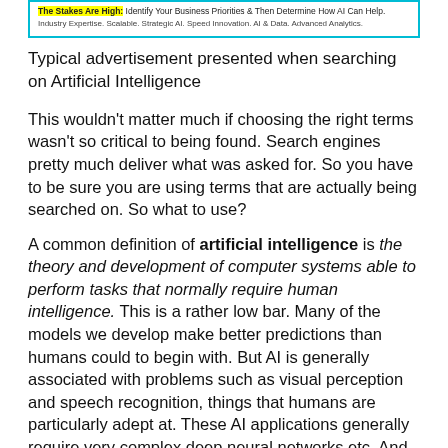[Figure (screenshot): Advertisement box with cyan border. Yellow highlighted text reading 'The Stakes Are High:' followed by 'Identify Your Business Priorities & Then Determine How AI Can Help.' Second line: 'Industry Expertise. Scalable. Strategic AI. Speed Innovation. AI & Data. Advanced Analytics.']
Typical advertisement presented when searching on Artificial Intelligence
This wouldn't matter much if choosing the right terms wasn't so critical to being found. Search engines pretty much deliver what was asked for. So you have to be sure you are using terms that are actually being searched on. So what to use?
A common definition of artificial intelligence is the theory and development of computer systems able to perform tasks that normally require human intelligence. This is a rather low bar. Many of the models we develop make better predictions than humans could to begin with. But AI is generally associated with problems such as visual perception and speech recognition, things that humans are particularly adept at. These AI applications generally require very complex deep neural networks etc. And so while you could say we do AI this feels like too much hyperbole, and certainly there are